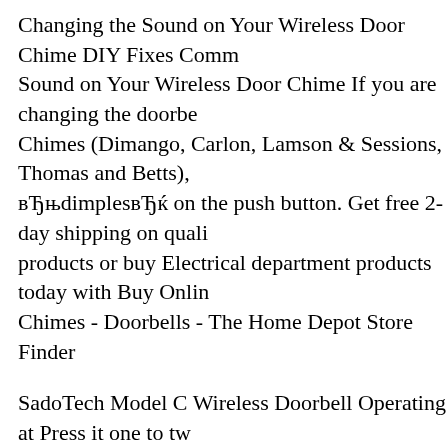Changing the Sound on Your Wireless Door Chime DIY Fixes Comm Sound on Your Wireless Door Chime If you are changing the doorbe Chimes (Dimango, Carlon, Lamson & Sessions, Thomas and Betts), вЂњdimplesвЂќ on the push button. Get free 2-day shipping on quali products or buy Electrical department products today with Buy Onlin Chimes - Doorbells - The Home Depot Store Finder
SadoTech Model C Wireless Doorbell Operating at Press it one to tw noise level and their voices are off! Also, I ahve have used it to signa working I have it set up so that if someone is at the front door ringing someone is at the back door ringing the In 2014, after listening to cu these Chinese chimes/tones, SadoTech set out to develop a new chine pleasant doorbell chime selection. Today, SadoTech is the only brand allows you to listen to our doorbell product before you decide to pur
SadoTech Model CXR Wireless Doorbell with 1 Remote Button and Operating at over 500-feet Range with Over 50 Chimes, No Batteries (Brown) Amazon.in: Buy SadoTech ST-FXR-BL Touch Activated W Percent Waterproof Button and 2 Plugin Receivers Operating at Ove